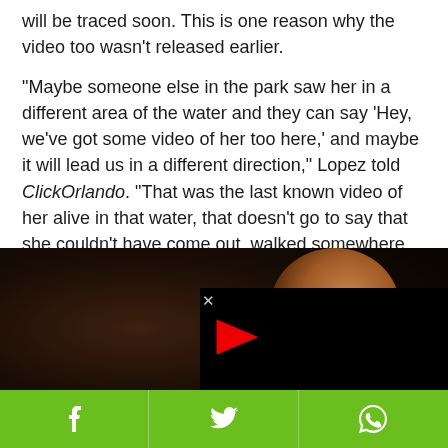will be traced soon. This is one reason why the video too wasn't released earlier.
"Maybe someone else in the park saw her in a different area of the water and they can say ‘Hey, we’ve got some video of her too here,’ and maybe it will lead us in a different direction," Lopez told ClickOrlando. "That was the last known video of her alive in that water, that doesn’t go to say that she couldn’t have come out, walked somewhere else."
[Figure (photo): Video player overlay showing a woman with dark curly hair, with a black popup overlay containing a red play button and loading spinner, partially obscuring the photo.]